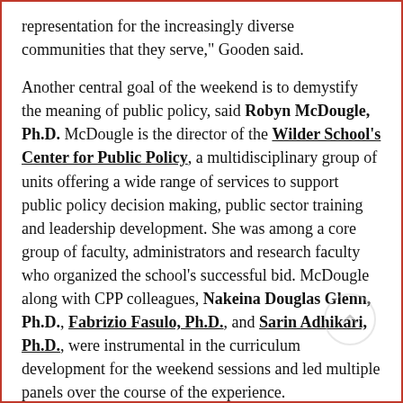representation for the increasingly diverse communities that they serve," Gooden said.
Another central goal of the weekend is to demystify the meaning of public policy, said Robyn McDougle, Ph.D. McDougle is the director of the Wilder School's Center for Public Policy, a multidisciplinary group of units offering a wide range of services to support public policy decision making, public sector training and leadership development. She was among a core group of faculty, administrators and research faculty who organized the school's successful bid. McDougle along with CPP colleagues, Nakeina Douglas Glenn, Ph.D., Fabrizio Fasulo, Ph.D., and Sarin Adhikari, Ph.D., were instrumental in the curriculum development for the weekend sessions and led multiple panels over the course of the experience.
“There’s a general lack of awareness about what public policy really involves and the same is true of